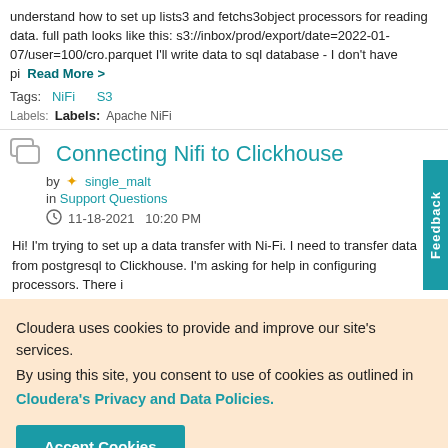understand how to set up lists3 and fetchs3object processors for reading data. full path looks like this: s3://inbox/prod/export/date=2022-01-07/user=100/cro.parquet I'll write data to sql database - I don't have pi Read More >
Tags: NiFi S3
Labels: Labels: Apache NiFi
Connecting Nifi to Clickhouse
by single_malt in Support Questions 11-18-2021 10:20 PM
Hi! I'm trying to set up a data transfer with Ni-Fi. I need to transfer data from postgresql to Clickhouse. I'm asking for help in configuring processors. There i
Cloudera uses cookies to provide and improve our site's services. By using this site, you consent to use of cookies as outlined in Cloudera's Privacy and Data Policies.
Accept Cookies